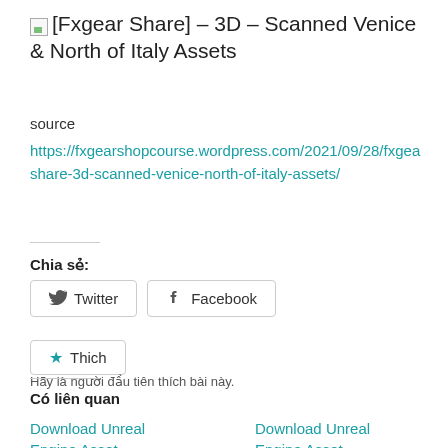[Fxgear Share] – 3D – Scanned Venice & North of Italy Assets
source
https://fxgearshopcourse.wordpress.com/2021/09/28/fxgear-share-3d-scanned-venice-north-of-italy-assets/
Chia sẻ:
Twitter
Facebook
Thich
Hãy là người đầu tiên thích bài này.
Có liên quan
Download Unreal Engine Asset –...
Download Unreal Engine Asset –...